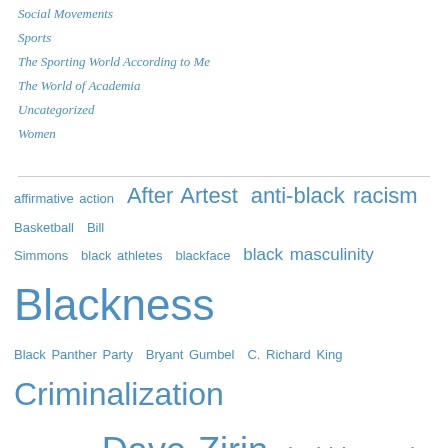Social Movements
Sports
The Sporting World According to Me
The World of Academia
Uncategorized
Women
[Figure (other): Tag cloud with terms: affirmative action, After Artest, anti-black racism, Basketball, Bill Simmons, black athletes, blackface, black masculinity, Blackness, Black Panther Party, Bryant Gumbel, C. Richard King, Criminalization, Culture wars, Dave Zirin, david leonard, David Stern, Death penalty, Domestic violence, education, ESPN, Exploitation, Feminism, Fox News, George Zimmerman, higher education, hip hop, Imani Perry, Inequality, James Braxton Peterson, James Holmes, Jasiri X, Jason Whitlock, Jay-z, Jeremy Lin, Jordan Davis, Kevin Durant]